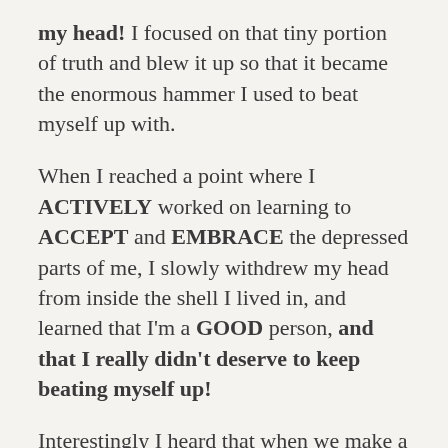my head! I focused on that tiny portion of truth and blew it up so that it became the enormous hammer I used to beat myself up with.
When I reached a point where I ACTIVELY worked on learning to ACCEPT and EMBRACE the depressed parts of me, I slowly withdrew my head from inside the shell I lived in, and learned that I'm a GOOD person, and that I really didn't deserve to keep beating myself up!
Interestingly I heard that when we make a decision that WE HAVE SUFFERED ENOUGH, we can start to leave all the old negative inner thoughts behind. We give ourselves